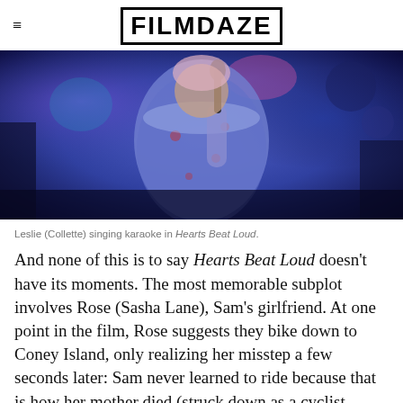FILMDAZE
[Figure (photo): A person in a floral blue dress singing karaoke on stage, holding a microphone up to their face, with blue-purple stage lighting and blurred background elements.]
Leslie (Collette) singing karaoke in Hearts Beat Loud.
And none of this is to say Hearts Beat Loud doesn't have its moments. The most memorable subplot involves Rose (Sasha Lane), Sam's girlfriend. At one point in the film, Rose suggests they bike down to Coney Island, only realizing her misstep a few seconds later: Sam never learned to ride because that is how her mother died (struck down as a cyclist